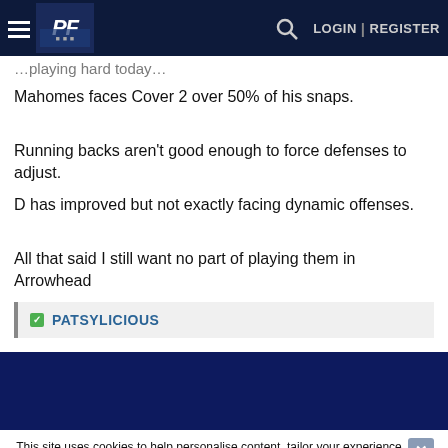PF | LOGIN | REGISTER
Mahomes faces Cover 2 over 50% of his snaps.
Running backs aren't good enough to force defenses to adjust.
D has improved but not exactly facing dynamic offenses.
All that said I still want no part of playing them in Arrowhead
PATSYLICIOUS
This site uses cookies to help personalise content, tailor your experience and to keep you logged in if you register.
By continuing to use this site, you are consenting to our use of cookies.